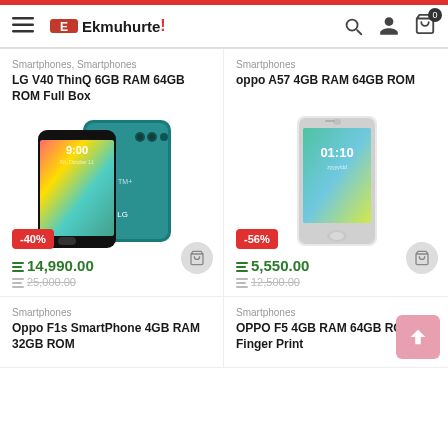Ekmuhurte
Smartphones, Smartphones
LG V40 ThinQ 6GB RAM 64GB ROM Full Box
[Figure (photo): LG V40 ThinQ smartphone, front and back view in teal color]
-40%
14,990.00
25,000.00
Smartphones
oppo A57 4GB RAM 64GB ROM
[Figure (photo): Oppo A57 smartphone front view in white/silver color]
-56%
5,550.00
12,500.00
Smartphones
Oppo F1s SmartPhone 4GB RAM 32GB ROM
Smartphones
OPPO F5 4GB RAM 64GB ROM Finger Print